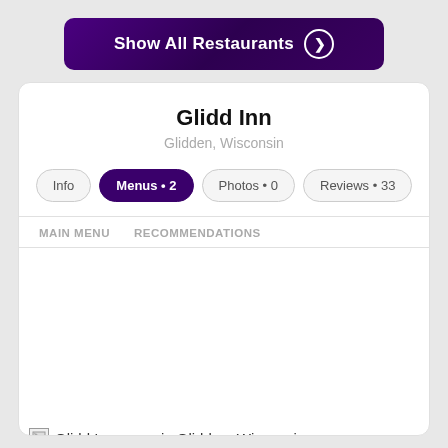Show All Restaurants
Glidd Inn
Glidden, Wisconsin
Info | Menus • 2 | Photos • 0 | Reviews • 33
MAIN MENU   RECOMMENDATIONS
[Figure (other): Broken image placeholder labeled 'Glidd Inn menu in Glidden, Wisconsin']